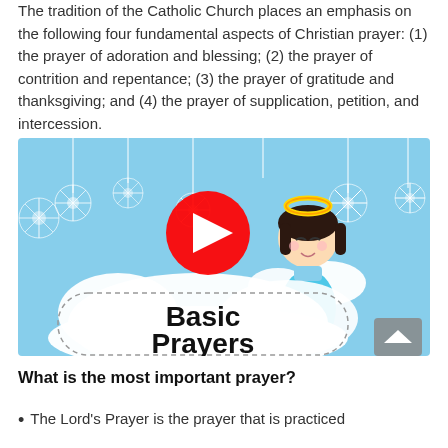The tradition of the Catholic Church places an emphasis on the following four fundamental aspects of Christian prayer: (1) the prayer of adoration and blessing; (2) the prayer of contrition and repentance; (3) the prayer of gratitude and thanksgiving; and (4) the prayer of supplication, petition, and intercession.
[Figure (screenshot): YouTube video thumbnail showing an animated angel girl with dark hair, halo, and wings sitting on a cloud against a light blue background with hanging snowflakes. A red YouTube play button is centered. Text reads 'Basic Prayers' in large bold black letters on the cloud. A gray scroll-to-top arrow button is in the bottom right corner.]
What is the most important prayer?
The Lord's Prayer is the prayer that is practiced